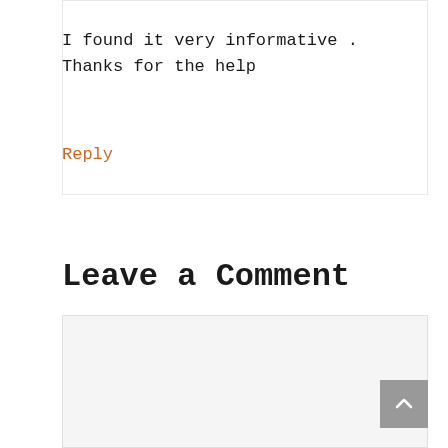I found it very informative . Thanks for the help
Reply
Leave a Comment